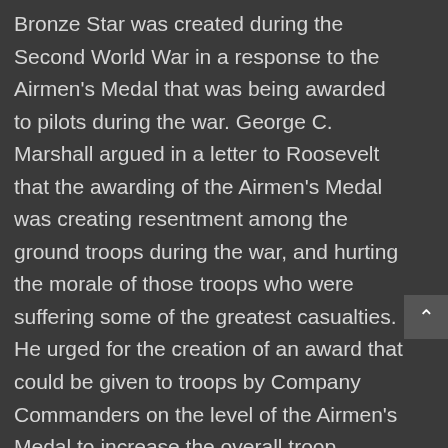Bronze Star was created during the Second World War in a response to the Airmen's Medal that was being awarded to pilots during the war. George C. Marshall argued in a letter to Roosevelt that the awarding of the Airmen's Medal was creating resentment among the ground troops during the war, and hurting the morale of those troops who were suffering some of the greatest casualties. He urged for the creation of an award that could be given to troops by Company Commanders on the level of the Airmen's Medal to increase the overall troop morale.